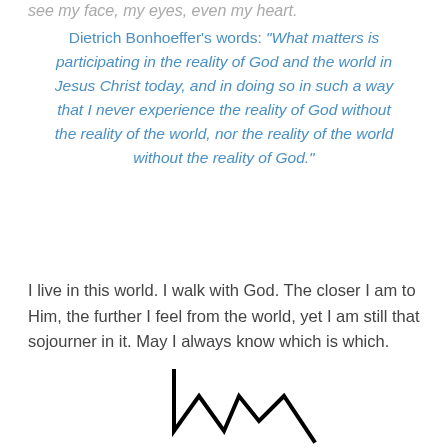see my face, my eyes, even my heart.
Dietrich Bonhoeffer’s words: “What matters is participating in the reality of God and the world in Jesus Christ today, and in doing so in such a way that I never experience the reality of God without the reality of the world, nor the reality of the world without the reality of God.”
I live in this world. I walk with God. The closer I am to Him, the further I feel from the world, yet I am still that sojourner in it. May I always know which is which.
[Figure (illustration): A stylized mountain or zigzag line drawing in black, showing sharp peaks, resembling a mountain silhouette or abstract line art.]